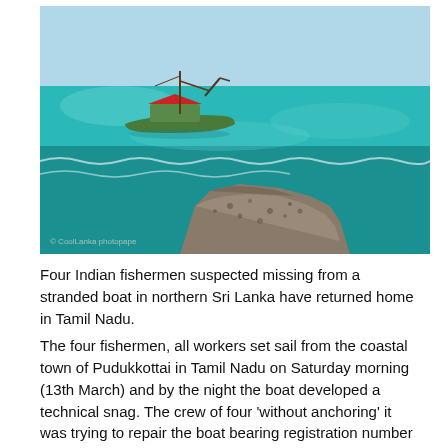[Figure (photo): A fishing boat on turquoise sea water near a rocky outcrop. The boat is wooden, painted green with a red roof, and appears stranded near the shore. A large rock formation juts into the water in the foreground. Sky is light blue above the scene.]
Four Indian fishermen suspected missing from a stranded boat in northern Sri Lanka have returned home in Tamil Nadu.
The four fishermen, all workers set sail from the coastal town of Pudukkottai in Tamil Nadu on Saturday morning (13th March) and by the night the boat developed a technical snag. The crew of four 'without anchoring' it was trying to repair the boat bearing registration number IND.TN.08.MM.145 drifted toward the Neduntivu coast due to strong winds.